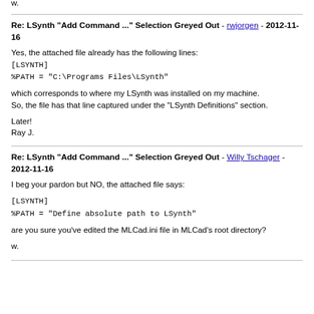w.
Re: LSynth "Add Command ..." Selection Greyed Out - rwjorgen - 2012-11-16
Yes, the attached file already has the following lines:
[LSYNTH]
%PATH = "C:\Programs Files\LSynth"

which corresponds to where my LSynth was installed on my machine. So, the file has that line captured under the "LSynth Definitions" section.

Later!
Ray J.
Re: LSynth "Add Command ..." Selection Greyed Out - Willy Tschager - 2012-11-16
I beg your pardon but NO, the attached file says:

[LSYNTH]
%PATH = "Define absolute path to LSynth"

are you sure you've edited the MLCad.ini file in MLCad's root directory?

w.